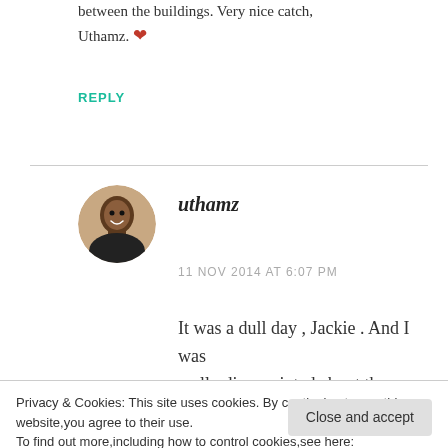between the buildings. Very nice catch, Uthamz. ❤
REPLY
uthamz
11 NOV 2014 AT 6:07 PM
It was a dull day , Jackie . And I was really disappointed about the
Privacy & Cookies: This site uses cookies. By continuing to use this website,you agree to their use.
To find out more,including how to control cookies,see here:
Cookie Policy
Close and accept